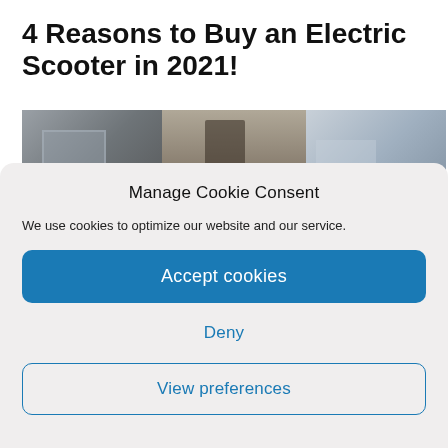4 Reasons to Buy an Electric Scooter in 2021!
[Figure (photo): Three-panel photo showing urban scenes with people, possibly commuters, in city environments.]
Manage Cookie Consent
We use cookies to optimize our website and our service.
Accept cookies
Deny
View preferences